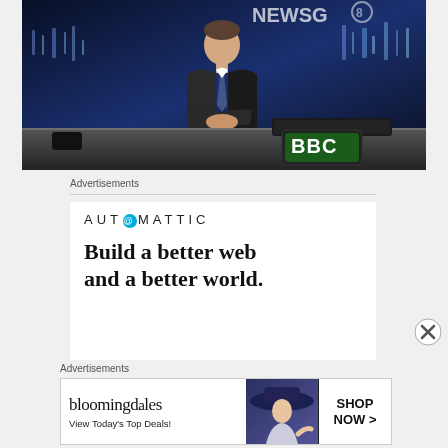[Figure (photo): A man in a dark suit sitting behind a news desk in a TV studio with blue lighting and a BBC logo sign visible on the desk]
Advertisements
[Figure (logo): AUTOMATTIC logo with circular @ symbol in the O]
Build a better web and a better world.
Advertisements
[Figure (screenshot): Bloomingdales advertisement: 'bloomingdales - View Today's Top Deals!' with a woman in a hat and SHOP NOW button]